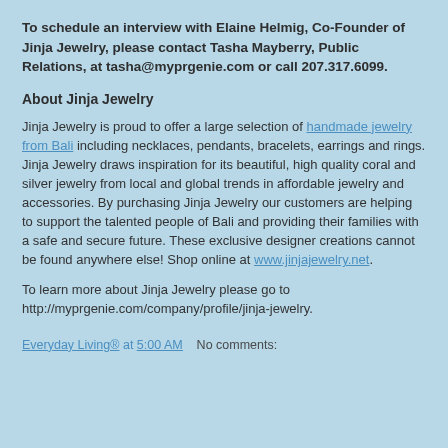To schedule an interview with Elaine Helmig, Co-Founder of Jinja Jewelry, please contact Tasha Mayberry, Public Relations, at tasha@myprgenie.com or call 207.317.6099.
About Jinja Jewelry
Jinja Jewelry is proud to offer a large selection of handmade jewelry from Bali including necklaces, pendants, bracelets, earrings and rings. Jinja Jewelry draws inspiration for its beautiful, high quality coral and silver jewelry from local and global trends in affordable jewelry and accessories. By purchasing Jinja Jewelry our customers are helping to support the talented people of Bali and providing their families with a safe and secure future. These exclusive designer creations cannot be found anywhere else! Shop online at www.jinjajewelry.net.
To learn more about Jinja Jewelry please go to http://myprgenie.com/company/profile/jinja-jewelry.
Everyday Living® at 5:00 AM    No comments: